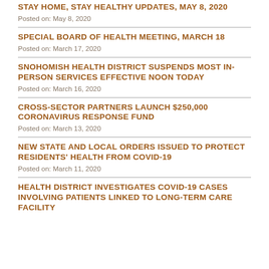STAY HOME, STAY HEALTHY UPDATES, MAY 8, 2020
Posted on: May 8, 2020
SPECIAL BOARD OF HEALTH MEETING, MARCH 18
Posted on: March 17, 2020
SNOHOMISH HEALTH DISTRICT SUSPENDS MOST IN-PERSON SERVICES EFFECTIVE NOON TODAY
Posted on: March 16, 2020
CROSS-SECTOR PARTNERS LAUNCH $250,000 CORONAVIRUS RESPONSE FUND
Posted on: March 13, 2020
NEW STATE AND LOCAL ORDERS ISSUED TO PROTECT RESIDENTS' HEALTH FROM COVID-19
Posted on: March 11, 2020
HEALTH DISTRICT INVESTIGATES COVID-19 CASES INVOLVING PATIENTS LINKED TO LONG-TERM CARE FACILITY